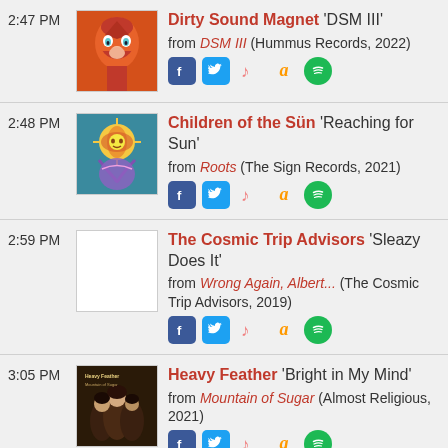2:47 PM — Dirty Sound Magnet 'DSM III' from DSM III (Hummus Records, 2022)
2:48 PM — Children of the Sün 'Reaching for Sun' from Roots (The Sign Records, 2021)
2:59 PM — The Cosmic Trip Advisors 'Sleazy Does It' from Wrong Again, Albert... (The Cosmic Trip Advisors, 2019)
3:05 PM — Heavy Feather 'Bright in My Mind' from Mountain of Sugar (Almost Religious, 2021)